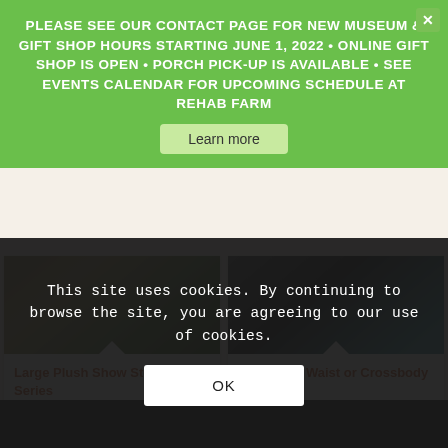PLEASE SEE OUR CONTACT PAGE FOR NEW MUSEUM & GIFT SHOP HOURS STARTING JUNE 1, 2022 • ONLINE GIFT SHOP IS OPEN • PORCH PICK-UP IS AVAILABLE • SEE EVENTS CALENDAR FOR UPCOMING SCHEDULE AT REHAB FARM
Learn more
[Figure (photo): Products on a wooden shelf — Breyer horse model boxes visible]
Large Plush Show Stopper Series
$22.00
[Figure (photo): Snaffle bit waist or crossbody purse — dark quilted leather bag on teal background]
Snaffle Bit Waist or Crossbody Purse
$36.00
This site uses cookies. By continuing to browse the site, you are agreeing to our use of cookies.
OK